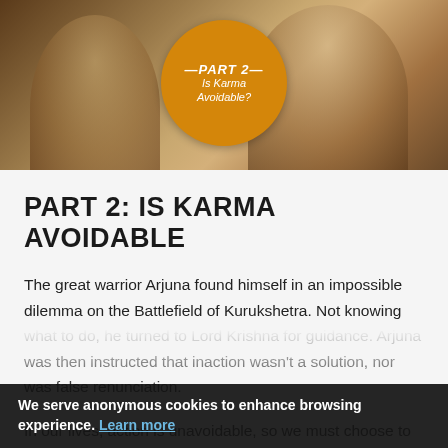[Figure (photo): Sepia-toned photograph of a spiritual figure/guru wearing garlands, with a badge overlay reading PART 2 - Is Karma Avoidable?]
PART 2: IS KARMA AVOIDABLE
The great warrior Arjuna found himself in an impossible dilemma on the Battlefield of Kurukshetra. Not knowing what to do, he turned to Lord Krishna for guidance. Arjuna was then instructed that inaction wasn't a solution, nor was false renunciation.
In our lives, action is unavoidable, so we must choose to either act in a way that binds us to this material world, or liberate ourselves from it by acting in the service of the Supreme Lord without attachment to the results of
We serve anonymous cookies to enhance browsing experience. Learn more